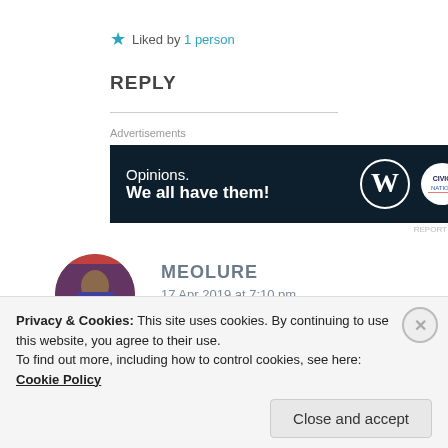★ Liked by 1 person
REPLY
[Figure (infographic): Advertisement banner with dark navy background. Text reads 'Opinions. We all have them!' with WordPress and Civic logos on the right side.]
REPORT THIS AD
MEOLURE
17 Apr 2019 at 7:10 pm
Privacy & Cookies: This site uses cookies. By continuing to use this website, you agree to their use.
To find out more, including how to control cookies, see here: Cookie Policy
Close and accept